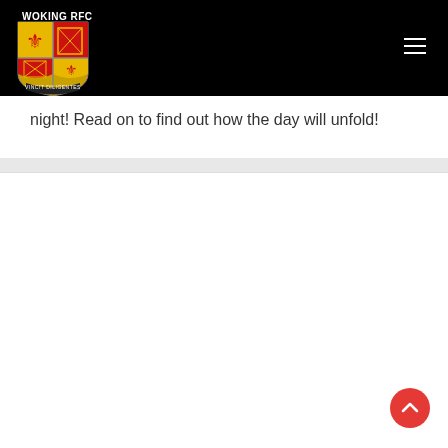WOKING RFC
night! Read on to find out how the day will unfold!
[Figure (logo): Woking RFC shield/crest logo in red, yellow and gold with fleur-de-lis motifs and a banner at the bottom]